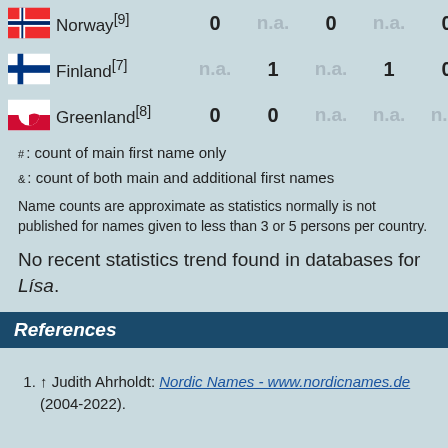| Country | col1 | col2 | col3 | col4 | col5 | col6 |
| --- | --- | --- | --- | --- | --- | --- |
| Norway[9] | 0 | n.a. | 0 | n.a. | 0 | n.a. |
| Finland[7] | n.a. | 1 | n.a. | 1 | 0 | 0 |
| Greenland[8] | 0 | 0 | n.a. | n.a. | n.a. | n.a. |
#: count of main first name only
&: count of both main and additional first names
Name counts are approximate as statistics normally is not published for names given to less than 3 or 5 persons per country.
No recent statistics trend found in databases for Lísa.
References
↑ Judith Ahrholdt: Nordic Names - www.nordicnames.de (2004-2022).